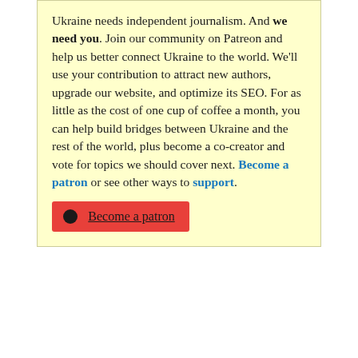Ukraine needs independent journalism. And we need you. Join our community on Patreon and help us better connect Ukraine to the world. We'll use your contribution to attract new authors, upgrade our website, and optimize its SEO. For as little as the cost of one cup of coffee a month, you can help build bridges between Ukraine and the rest of the world, plus become a co-creator and vote for topics we should cover next. Become a patron or see other ways to support.
[Figure (other): Red Patreon button with Patreon logo (black circle with P) and text 'Become a patron' underlined]